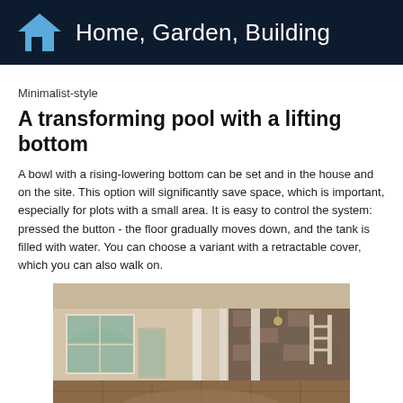Home, Garden, Building
Minimalist-style
A transforming pool with a lifting bottom
A bowl with a rising-lowering bottom can be set and in the house and on the site. This option will significantly save space, which is important, especially for plots with a small area. It is easy to control the system: pressed the button - the floor gradually moves down, and the tank is filled with water. You can choose a variant with a retractable cover, which you can also walk on.
[Figure (photo): Interior photo of a large room with tiled floor, white columns, arched windows with natural light, and a rocky stone wall feature on the right side. The floor appears to be a transforming pool with a lifting bottom.]